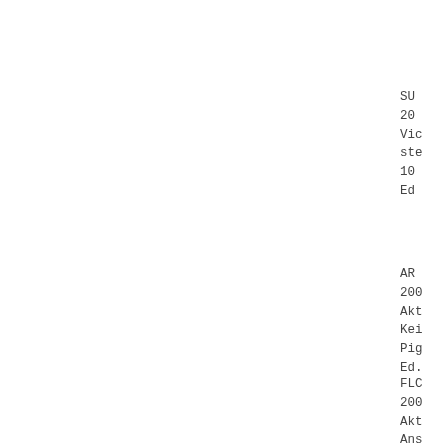SU
20
Vic
ste
10
Ed
AR
200
Akt
Kei
Pig
Ed.
FLC
200
Akt
Ans
Pig